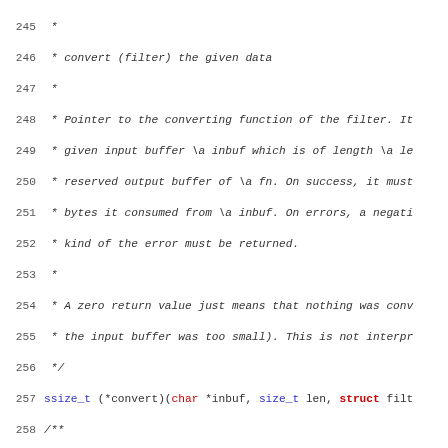[Figure (screenshot): Source code listing (C code with comments) showing lines 245-276, including function pointer declarations for convert, close, and print_help with Doxygen-style comments.]